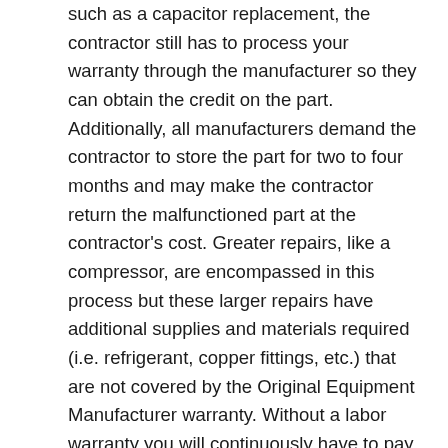such as a capacitor replacement, the contractor still has to process your warranty through the manufacturer so they can obtain the credit on the part. Additionally, all manufacturers demand the contractor to store the part for two to four months and may make the contractor return the malfunctioned part at the contractor's cost. Greater repairs, like a compressor, are encompassed in this process but these larger repairs have additional supplies and materials required (i.e. refrigerant, copper fittings, etc.) that are not covered by the Original Equipment Manufacturer warranty. Without a labor warranty you will continuously have to pay out-of-pocket for the technician's labor.